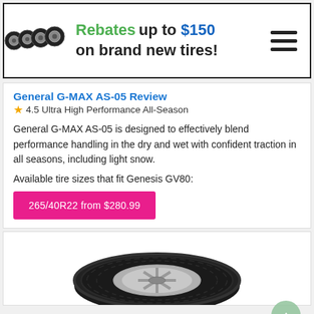[Figure (infographic): Banner advertisement showing four tire rims on the left, with text 'Rebates up to $150 on brand new tires!' and a hamburger menu icon on the right.]
General G-MAX AS-05 Review
★4.5 Ultra High Performance All-Season
General G-MAX AS-05 is designed to effectively blend performance handling in the dry and wet with confident traction in all seasons, including light snow.
Available tire sizes that fit Genesis GV80:
265/40R22 from $280.99
[Figure (photo): Product photo of a tire (General G-MAX AS-05) mounted on a silver alloy wheel, shown at an angle.]